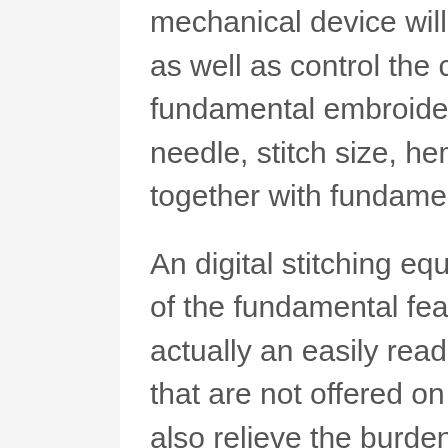mechanical device will certainly need you to establish as well as control the controls by hand, carrying out fundamental embroidery jobs such as threading the needle, stitch size, hemming, creating buttonholes together with fundamental maintenance.
An digital stitching equipment will automate a number of the fundamental features listed above, have actually an easily read LED screen, offer functions that are not offered on a mechanical machine and also relieve the burden of tiresome sewing work.
A couple of attributes that are optimal are integrated lights to help with stitching darker things as well as for sewing during